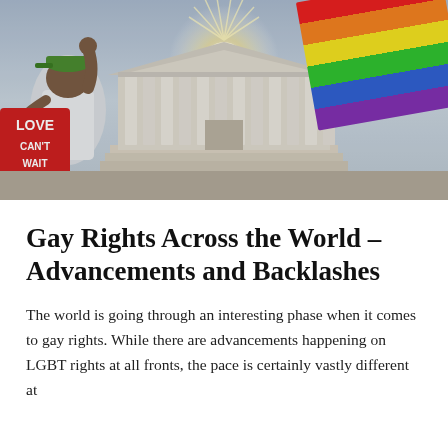[Figure (photo): A person wearing a white t-shirt, green cap, holding a red 'LOVE CAN'T WAIT' sign with fist raised, standing in front of the US Supreme Court building. A rainbow pride flag is visible in the upper right corner. Sunlight bursts behind the court's columns.]
Gay Rights Across the World – Advancements and Backlashes
The world is going through an interesting phase when it comes to gay rights. While there are advancements happening on LGBT rights at all fronts, the pace is certainly vastly different at